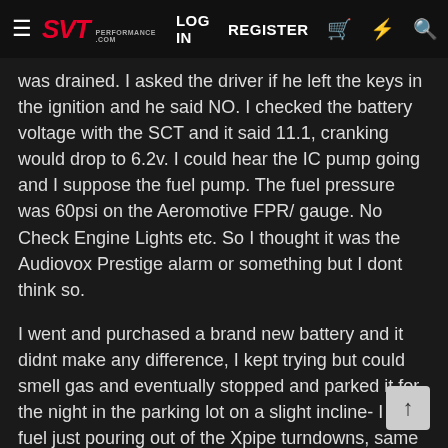SVT Performance Forum — LOG IN  REGISTER
was drained. I asked the driver if he left the keys in the ignition and he said NO. I checked the battery voltage with the SCT and it said 11.1, cranking would drop to 6.2v. I could hear the IC pump going and I suppose the fuel pump. The fuel pressure was 60psi on the Aeromotive FPR/ gauge. No Check Engine Lights etc. So I thought it was the Audiovox Prestige alarm or something but I dont think so.
I went and purchased a brand new battery and it didnt make any difference, I kept trying but could smell gas and eventually stopped and parked it for the night in the parking lot on a slight incline- I saw fuel just pouring out of the Xpipe turndowns, same with the next morning when I loaded it on a wrecker to get it home.